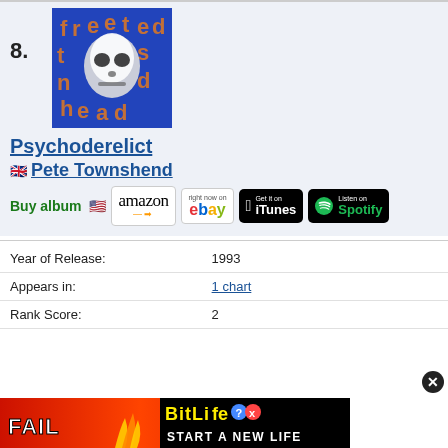8.
[Figure (illustration): Album cover for Psychoderelict by Pete Townshend - stylized skull/face with orange text letters on blue background]
Psychoderelict
Pete Townshend
Buy album
| Field | Value |
| --- | --- |
| Year of Release: | 1993 |
| Appears in: | 1 chart |
| Rank Score: | 2 |
[Figure (illustration): BitLife advertisement banner - FAIL text with cartoon character, flames, BitLife logo, START A NEW LIFE text]